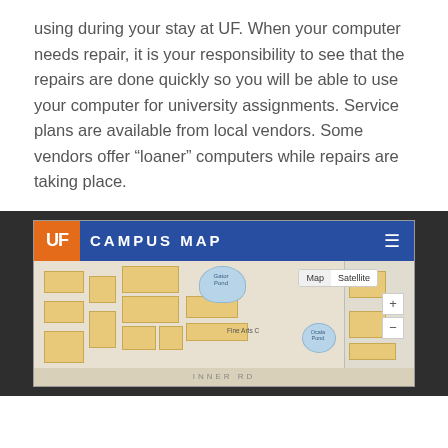using during your stay at UF. When your computer needs repair, it is your responsibility to see that the repairs are done quickly so you will be able to use your computer for university assignments. Service plans are available from local vendors. Some vendors offer “loaner” computers while repairs are taking place.
[Figure (screenshot): Screenshot of the UF Campus Map web interface showing a portion of the University of Florida campus with buildings, ponds (Gator Pond, Ocala Pond), Fine Arts C label, INNER RD label, and Map/Satellite toggle and zoom controls.]